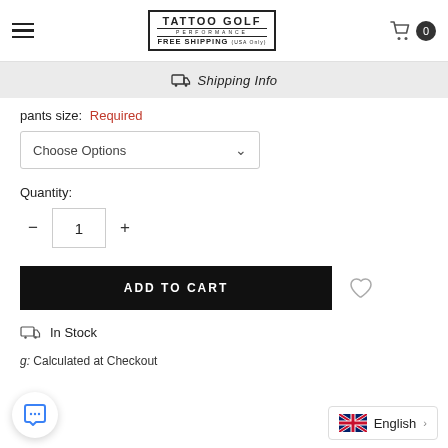[Figure (logo): Tattoo Golf Performance Free Shipping logo in bordered box]
Shipping Info
pants size: Required
Choose Options
Quantity:
1
ADD TO CART
In Stock
g: Calculated at Checkout
English